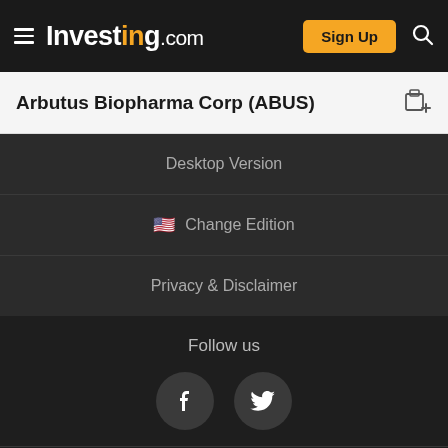Investing.com — Sign Up
Arbutus Biopharma Corp (ABUS)
Desktop Version
🇺🇸 Change Edition
Privacy & Disclaimer
Follow us
© 2007-2023 Fusion Media Limited
ADVERTISEMENT